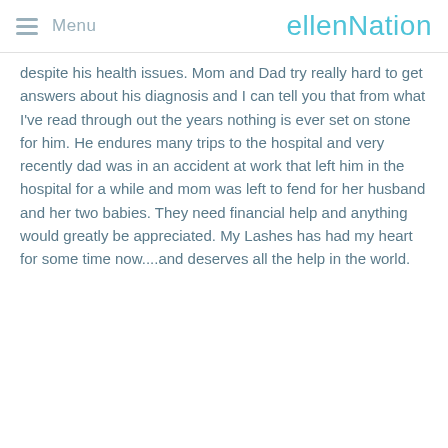Menu | ellenNation
despite his health issues. Mom and Dad try really hard to get answers about his diagnosis and I can tell you that from what I've read through out the years nothing is ever set on stone for him. He endures many trips to the hospital and very recently dad was in an accident at work that left him in the hospital for a while and mom was left to fend for her husband and her two babies. They need financial help and anything would greatly be appreciated. My Lashes has had my heart for some time now....and deserves all the help in the world.